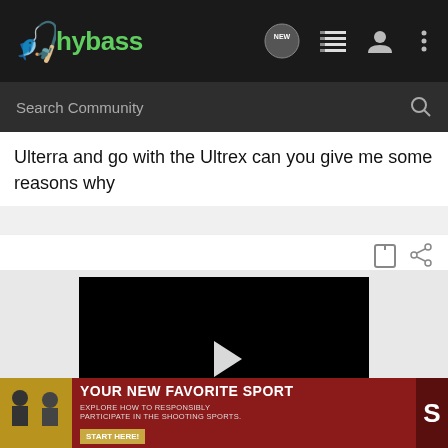hybass
Ulterra and go with the Ultrex can you give me some reasons why
[Figure (screenshot): Video player with black screen showing play button and mute icon]
[Figure (infographic): Advertisement banner with red background reading YOUR NEW FAVORITE SPORT - EXPLORE HOW TO RESPONSIBLY PARTICIPATE IN THE SHOOTING SPORTS. START HERE!]